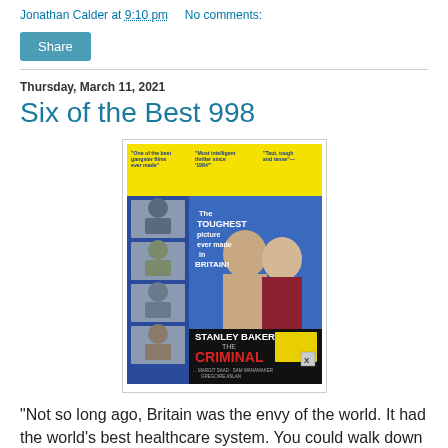Jonathan Calder at 9:10 pm   No comments:
Share
Thursday, March 11, 2021
Six of the Best 998
[Figure (photo): Movie poster for 'The Criminal' featuring Stanley Baker. Text on poster reads: 'One of the best gangster films ever made', 'Most intelligent thriller since 1984', 'Taut, tough and tense'. Center text: 'The TOUGHEST picture ever made in BRITAIN!' Bottom: 'STANLEY BAKER THE CRIMINAL ... MARGIT SAAD · SAM WANAMAKER GREGOIRE ASLAN']
"Not so long ago, Britain was the envy of the world. It had the world's best healthcare system. You could walk down the street, go to the doctor, and literally have the world's best healthcare on your doorstep. It had the world's finest public broadcaster, the BBC. The middl...